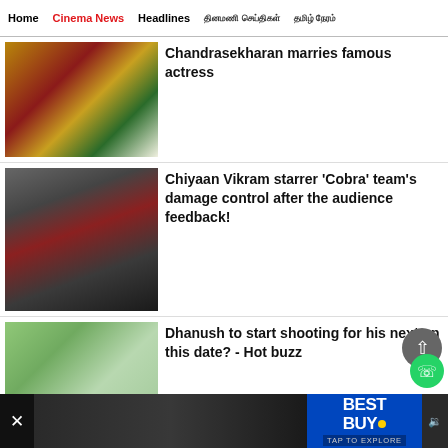Home | Cinema News | Headlines | [Tamil text] | [Tamil text]
[Figure (photo): Wedding photo of Chandrasekharan and actress with flower garlands]
Chandrasekharan marries famous actress
[Figure (photo): Man holding red umbrella in rain, movie still from Cobra featuring Chiyaan Vikram]
Chiyaan Vikram starrer 'Cobra' team's damage control after the audience feedback!
[Figure (photo): Portrait of actor Dhanush with greenery background]
Dhanush to start shooting for his next on this date? - Hot buzz
[Figure (screenshot): Best Buy advertisement banner at the bottom with TAP TO EXPLORE button]